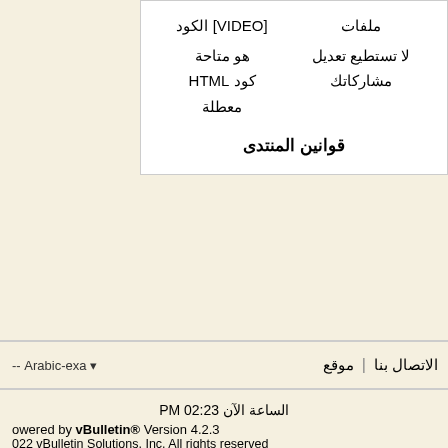| ملفات | [VIDEO] الكود |
| --- | --- |
| لا تستطيع تعديل مشاركاتك | هو متاحة كود HTML معطلة |
قوانين المنتدى
الاتصال بنا | موقع
Arabic-exa --
الساعة الآن 02:23 PM
owered by vBulletin® Version 4.2.3
022 vBulletin Solutions, Inc. All rights reserved
Translate By Almuhajir
جميع الحقوق محفوظة © موقع مكشات ،،، لأفضل عرض ل مكشات / أحد المشاريع المحتضنة في حاضنة بادر لتقنية